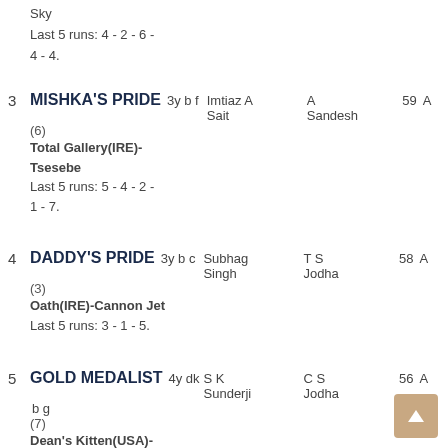Sky
Last 5 runs: 4 - 2 - 6 - 4 - 4.
3  MISHKA'S PRIDE  3y b f  Imtiaz A Sait  A Sandesh  59  A
(6)
Total Gallery(IRE)-Tsesebe
Last 5 runs: 5 - 4 - 2 - 1 - 7.
4  DADDY'S PRIDE  3y b c  Subhag Singh  T S Jodha  58  A
(3)
Oath(IRE)-Cannon Jet
Last 5 runs: 3 - 1 - 5.
5  GOLD MEDALIST  4y dk b g  S K Sunderji  C S Jodha  56  A
(7)
Dean's Kitten(USA)-Mamborina(USA)
Last 5 runs: 5 - 5 - 1 -